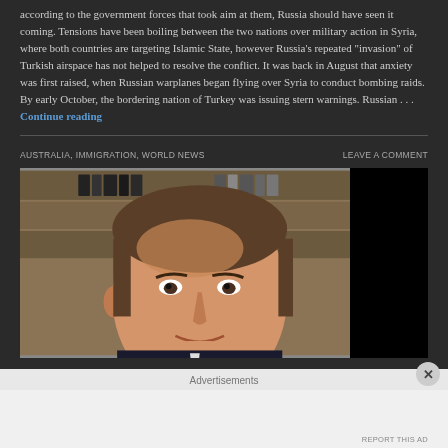according to the government forces that took aim at them, Russia should have seen it coming. Tensions have been boiling between the two nations over military action in Syria, where both countries are targeting Islamic State, however Russia's repeated "invasion" of Turkish airspace has not helped to resolve the conflict. It was back in August that anxiety was first raised, when Russian warplanes began flying over Syria to conduct bombing raids. By early October, the bordering nation of Turkey was issuing stern warnings. Russian … Continue reading
AUSTRALIA, IMMIGRATION, WORLD NEWS
LEAVE A COMMENT
[Figure (photo): Portrait photo of a middle-aged man with brown hair in front of bookshelves, next to a black panel]
Advertisements
REPORT THIS AD